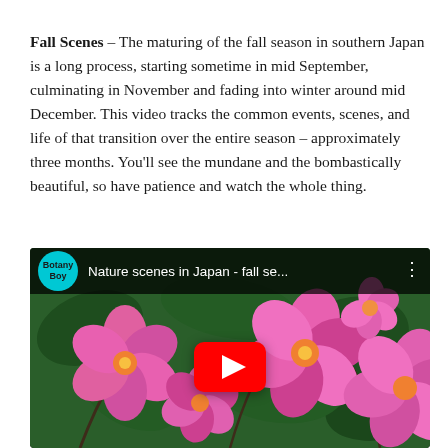Fall Scenes – The maturing of the fall season in southern Japan is a long process, starting sometime in mid September, culminating in November and fading into winter around mid December. This video tracks the common events, scenes, and life of that transition over the entire season – approximately three months. You'll see the mundane and the bombastically beautiful, so have patience and watch the whole thing.
[Figure (screenshot): Embedded YouTube video thumbnail showing pink flowers (camellia/fall blooms) against green foliage. Top bar shows Botany Boy channel logo (teal circle) and title 'Nature scenes in Japan - fall se...' with three-dot menu. A large red YouTube play button is centered over the flower image.]